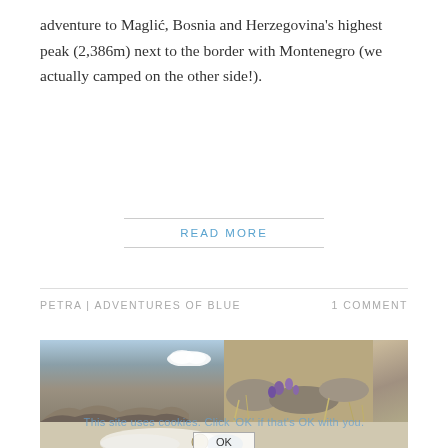adventure to Maglić, Bosnia and Herzegovina's highest peak (2,386m) next to the border with Montenegro (we actually camped on the other side!).
READ MORE
PETRA | ADVENTURES OF BLUE     1 COMMENT
[Figure (photo): Two outdoor mountain/nature photos side by side: left shows a rocky highland landscape under a blue sky with a white cloud; right shows purple crocus flowers growing among dry grass and rocks. Below is a partially visible third photo showing camping gear.]
This site uses cookies. Click 'OK' if that's OK with you.
OK